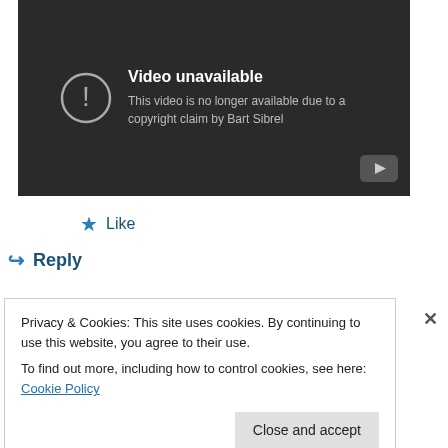[Figure (screenshot): YouTube video unavailable screen showing dark background with exclamation icon and text: 'Video unavailable - This video is no longer available due to a copyright claim by Bart Sibrel'. YouTube logo visible at bottom right.]
★ Like
↪ Reply
Privacy & Cookies: This site uses cookies. By continuing to use this website, you agree to their use.
To find out more, including how to control cookies, see here: Cookie Policy